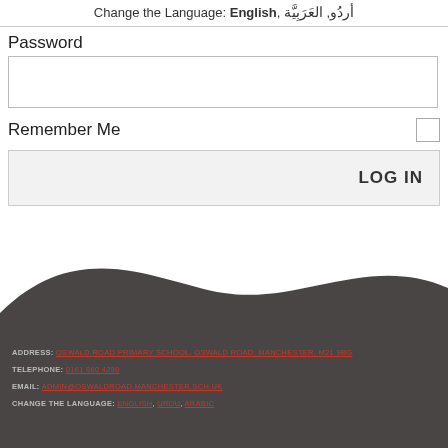Change the Language: English, أردُو, العَرَبِيَّة
Password
Remember Me
LOG IN
ADDRESS: OSWALD ROAD PRIMARY SCHOOL, OSWALD ROAD, MANCHESTER, M21 9BG
TELEPHONE: 0161 860 4280
EMAIL: ADMIN@OSWALDROAD.MANCHESTER.SCH.UK
CHANGE THE LANGUAGE: ENGLISH, URDU, ARABIC